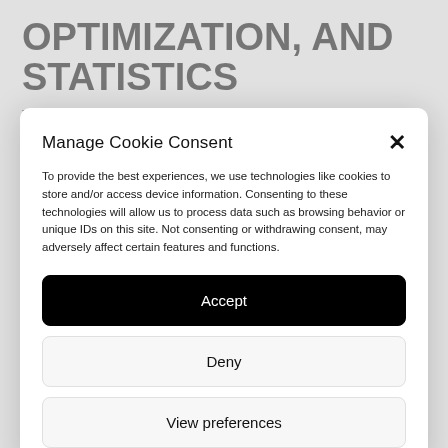OPTIMIZATION, AND STATISTICS
This Website uses Cookies to save browsing
Manage Cookie Consent
To provide the best experiences, we use technologies like cookies to store and/or access device information. Consenting to these technologies will allow us to process data such as browsing behavior or unique IDs on this site. Not consenting or withdrawing consent, may adversely affect certain features and functions.
Accept
Deny
View preferences